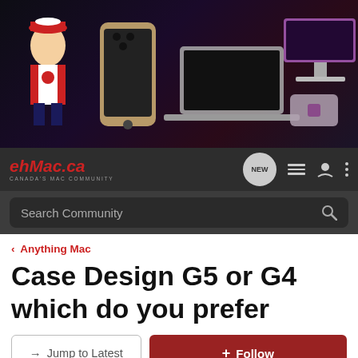[Figure (photo): Website banner for ehMac.ca showing Apple products (iPhone, MacBook, iMac, Mac mini) on a dark background with a Canadian mascot on the left side and an orange bar at top left]
ehMac.ca CANADA'S MAC COMMUNITY
Search Community
< Anything Mac
Case Design G5 or G4 which do you prefer
→ Jump to Latest
+ Follow
Case Design G5 or G4 which do you prefer